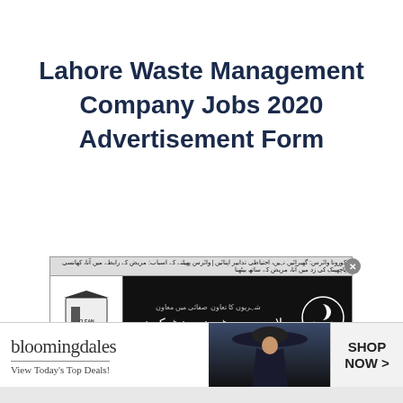Lahore Waste Management Company Jobs 2020 Advertisement Form
[Figure (other): Lahore Waste Management Company newspaper job advertisement in Urdu. Shows LWMC branding with Clean Store logo on left, Urdu text in center on black background, and LWMC moon-waves logo on right. An infolinks badge is on the lower left.]
[Figure (other): Bloomingdales advertisement banner showing 'bloomingdales' logo text, 'View Today's Top Deals!' tagline, a model silhouette wearing a large hat against dark background, and a 'SHOP NOW >' button on the right.]